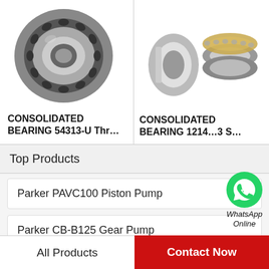[Figure (photo): Spherical roller bearing - CONSOLIDATED BEARING 54313-U thrust bearing product photo]
CONSOLIDATED BEARING 54313-U Thr…
[Figure (photo): Tapered roller bearing components - CONSOLIDATED BEARING 12140/3 S… product photo]
CONSOLIDATED BEARING 1214…3 S…
[Figure (photo): WhatsApp Online badge - green WhatsApp icon with text 'WhatsApp Online']
Top Products
Parker PAVC100 Piston Pump
Parker CB-B125 Gear Pump
All Products
Contact Now